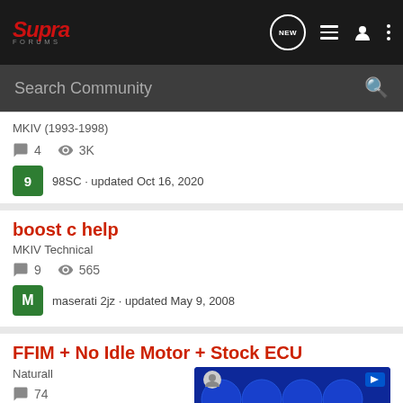Supra Forums
Search Community
MKIV (1993-1998)
4 replies · 3K views
98SC · updated Oct 16, 2020
boost c help
MKIV Technical
9 replies · 565 views
maserati 2jz · updated May 9, 2008
FFIM + No Idle Motor + Stock ECU
Naturall...
74 replies